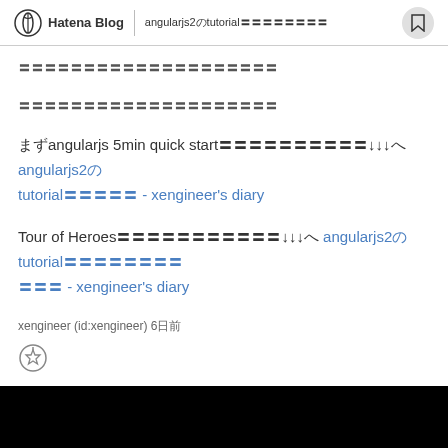Hatena Blog | angularjs2のtutorialをやってみた
〓〓〓〓〓〓〓〓〓〓〓〓〓〓〓〓〓〓〓〓
〓〓〓〓〓〓〓〓〓〓〓〓〓〓〓〓〓〓〓〓
まずangularjs 5min quick startをやってみたら↓↓↓へ angularjs2のtutorialをやってみた - xengineer's diary
Tour of HeroesというチュートリアルをやってみたII↓↓↓へ angularjs2のtutorialをやってみたII - xengineer's diary
xengineer (id:xengineer) 6日
[Figure (illustration): Star/bookmark add icon (circle with star and plus)]